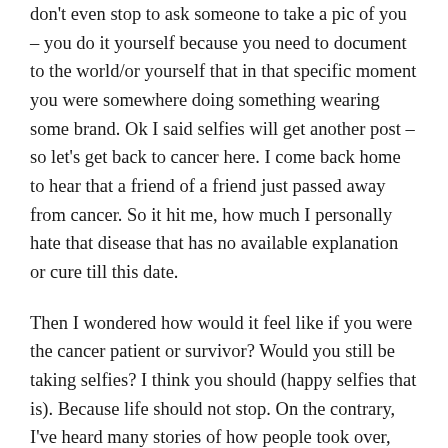don't even stop to ask someone to take a pic of you – you do it yourself because you need to document to the world/or yourself that in that specific moment you were somewhere doing something wearing some brand. Ok I said selfies will get another post – so let's get back to cancer here. I come back home to hear that a friend of a friend just passed away from cancer. So it hit me, how much I personally hate that disease that has no available explanation or cure till this date.
Then I wondered how would it feel like if you were the cancer patient or survivor? Would you still be taking selfies? I think you should (happy selfies that is). Because life should not stop. On the contrary, I've heard many stories of how people took over, transformed their lifestyles and really started living only when they knew they had cancer. It's like being told you have an expiry date – being ordered to wake up and stop wasting your days by repeating the same empty cycle and start living. One of the latest and most touching stories being that of Sara El Khatib – who has sadly passed away recently only